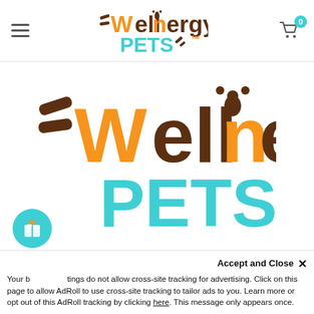Wellnergy Pets — navigation bar with hamburger menu and cart icon
[Figure (logo): Wellnergy Pets logo — large version centered on page, orange and brown 'Wellnergy' text with paw print on 'o', teal 'PETS' text with bone/leash graphic, TM mark]
Phone: (949) 878-9387
Your browser settings do not allow cross-site tracking for advertising. Click on this page to allow AdRoll to use cross-site tracking to tailor ads to you. Learn more or opt out of this AdRoll tracking by clicking here. This message only appears once.